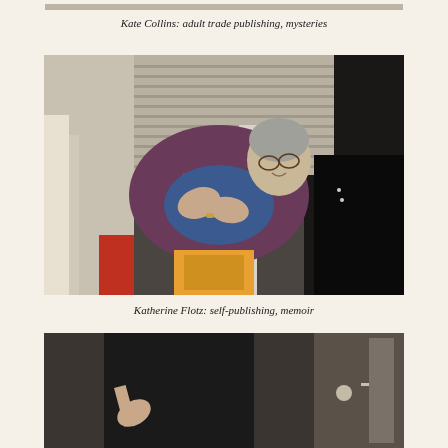[Figure (photo): Partial photo of Kate Collins at top of page, cropped]
Kate Collins: adult trade publishing, mysteries
[Figure (photo): Katherine Flotz, an elderly woman leaning forward, wearing a purple patterned top over blue, with gray hair and glasses, at what appears to be an indoor event]
Katherine Flotz: self-publishing, memoir
[Figure (photo): Partial photo at bottom of page showing a person in dark clothing with a hand gesture visible]